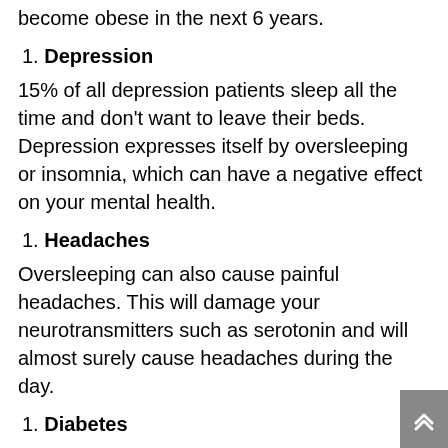become obese in the next 6 years.
1. Depression
15% of all depression patients sleep all the time and don't want to leave their beds. Depression expresses itself by oversleeping or insomnia, which can have a negative effect on your mental health.
1. Headaches
Oversleeping can also cause painful headaches. This will damage your neurotransmitters such as serotonin and will almost surely cause headaches during the day.
1. Diabetes
Spending your days sleeping can impair your body's ability to process glucose, which will lead to type 2 diabetes over time. One study showed that people who